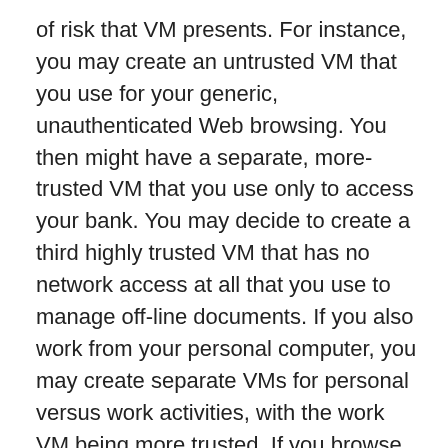of risk that VM presents. For instance, you may create an untrusted VM that you use for your generic, unauthenticated Web browsing. You then might have a separate, more-trusted VM that you use only to access your bank. You may decide to create a third highly trusted VM that has no network access at all that you use to manage off-line documents. If you also work from your personal computer, you may create separate VMs for personal versus work activities, with the work VM being more trusted. If you browse to a malicious Web site with your untrusted Web browser, the attacker won't have access to your banking credentials or personal files since you store those on different VMs. Qubes even provides disposable VMs: one-time-use VMs that are deleted completely from disk after the application closes.